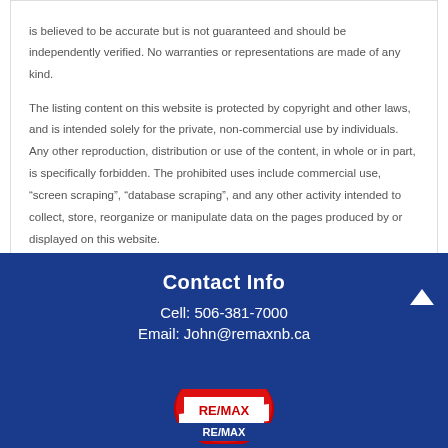is believed to be accurate but is not guaranteed and should be independently verified. No warranties or representations are made of any kind. The listing content on this website is protected by copyright and other laws, and is intended solely for the private, non-commercial use by individuals. Any other reproduction, distribution or use of the content, in whole or in part, is specifically forbidden. The prohibited uses include commercial use, "screen scraping", "database scraping", and any other activity intended to collect, store, reorganize or manipulate data on the pages produced by or displayed on this website.
Contact Info
Cell: 506-381-7000
Email: John@remaxnb.ca
[Figure (logo): RE/MAX logo - red balloon with RE/MAX text, partially visible at bottom]